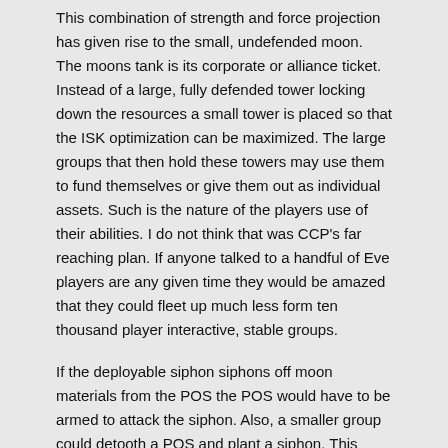This combination of strength and force projection has given rise to the small, undefended moon. The moons tank is its corporate or alliance ticket. Instead of a large, fully defended tower locking down the resources a small tower is placed so that the ISK optimization can be maximized. The large groups that then hold these towers may use them to fund themselves or give them out as individual assets. Such is the nature of the players use of their abilities. I do not think that was CCP's far reaching plan. If anyone talked to a handful of Eve players are any given time they would be amazed that they could fleet up much less form ten thousand player interactive, stable groups.
If the deployable siphon siphons off moon materials from the POS the POS would have to be armed to attack the siphon. Also, a smaller group could detooth a POS and plant a siphon. This would force the POS owner to defend and repair their modules (or deploy more). It allows a smaller entity the ability to take advantage of living in the space that they inhabit.
You can become a pain in the butt. The larger group will have to expend resources to hold their moons. Having dozens (hundreds?) of moons being attacked by little siphons and small groups will become a task that has to be done unless they just don't mind sharing with the locals. They will lose profit or they will have to expend resources. Both are reasonable solutions.